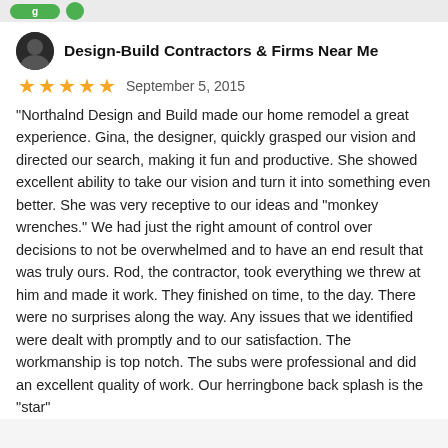[Figure (other): Green button/banner at top of page (partial UI element)]
Design-Build Contractors & Firms Near Me
★★★★★  September 5, 2015
"Northalnd Design and Build made our home remodel a great experience. Gina, the designer, quickly grasped our vision and directed our search, making it fun and productive. She showed excellent ability to take our vision and turn it into something even better. She was very receptive to our ideas and "monkey wrenches." We had just the right amount of control over decisions to not be overwhelmed and to have an end result that was truly ours. Rod, the contractor, took everything we threw at him and made it work. They finished on time, to the day. There were no surprises along the way. Any issues that we identified were dealt with promptly and to our satisfaction. The workmanship is top notch. The subs were professional and did an excellent quality of work. Our herringbone back splash is the "star"